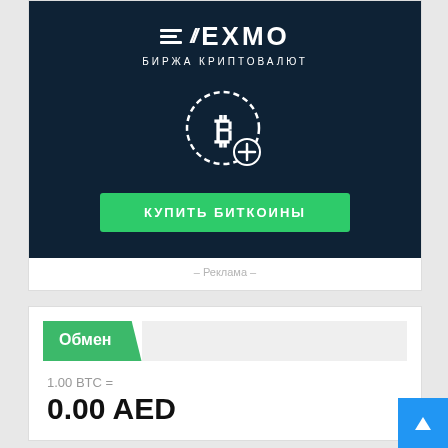[Figure (illustration): EXMO cryptocurrency exchange advertisement banner with dark navy background, EXMO logo with lines and slash marks, subtitle 'БИРЖА КРИПТОВАЛЮТ', Bitcoin coin icon with dashed circle and plus symbol, and a green 'КУПИТЬ БИТКОИНЫ' (Buy Bitcoins) button]
– Реклама –
Обмен
1.00 BTC =
0.00 AED